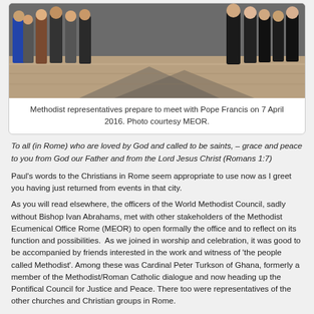[Figure (photo): Group of people including Methodist representatives preparing to meet with Pope Francis in a grand hall, standing on ornate floor.]
Methodist representatives prepare to meet with Pope Francis on 7 April 2016. Photo courtesy MEOR.
To all (in Rome) who are loved by God and called to be saints, – grace and peace to you from God our Father and from the Lord Jesus Christ (Romans 1:7)
Paul's words to the Christians in Rome seem appropriate to use now as I greet you having just returned from events in that city.
As you will read elsewhere, the officers of the World Methodist Council, sadly without Bishop Ivan Abrahams, met with other stakeholders of the Methodist Ecumenical Office Rome (MEOR) to open formally the office and to reflect on its function and possibilities.  As we joined in worship and celebration, it was good to be accompanied by friends interested in the work and witness of 'the people called Methodist'. Among these was Cardinal Peter Turkson of Ghana, formerly a member of the Methodist/Roman Catholic dialogue and now heading up the Pontifical Council for Justice and Peace. There too were representatives of the other churches and Christian groups in Rome.
A particular highlight was the time we spent with Pope Francis. It was a real pleasure and encouragement to hear him quote from John Wesley's 'Letter to a Roman Catholic' (Dublin, 1749), reminding us all that we are called to 'help each other on in whatever …leads to the Kingdom'. Pope Francis also noted John Wesley's observation that 'if we cannot as yet think alike in all things,